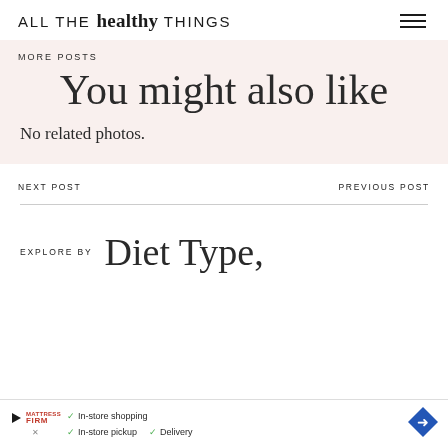ALL THE healthy THINGS
MORE POSTS
You might also like
No related photos.
NEXT POST
PREVIOUS POST
EXPLORE BY Diet Type,
[Figure (other): Advertisement banner for Mattress Firm showing In-store shopping, In-store pickup, Delivery options with a navigation arrow diamond icon]